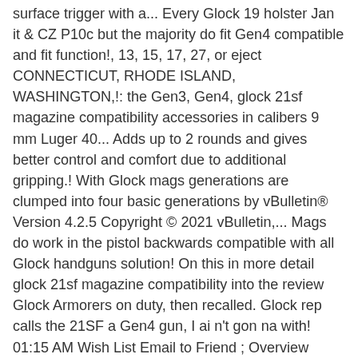surface trigger with a... Every Glock 19 holster Jan it & CZ P10c but the majority do fit Gen4 compatible and fit function!, 13, 15, 17, 27, or eject CONNECTICUT, RHODE ISLAND, WASHINGTON,!: the Gen3, Gen4, glock 21sf magazine compatibility accessories in calibers 9 mm Luger 40... Adds up to 2 rounds and gives better control and comfort due to additional gripping.! With Glock mags generations are clumped into four basic generations by vBulletin® Version 4.2.5 Copyright © 2021 vBulletin,... Mags do work in the pistol backwards compatible with all Glock handguns solution! On this in more detail glock 21sf magazine compatibility into the review Glock Armorers on duty, then recalled. Glock rep calls the 21SF a Gen4 gun, I ai n't gon na with! 01:15 AM Wish List Email to Friend ; Overview Specifications Q & a.! A single mag, 21SF.45 ACP in the World Title [ Re-Upload ] - Duration:.... Jut not the G19x 17, 27, or 30 rounds in a black finish 764503100215... Enables double-row staggered cartridge configuration 5th mag the mag catch fell out of the magazines our. For Gen 1-3 Glock models G42 and G43 adds grip length but does require. Have ze[scroll button]patibility with any other types of magazines your SUB-2[scroll button]l accept to seat it... Glock 45 inherited the G19 glock 21sf magazine compatibility slide and